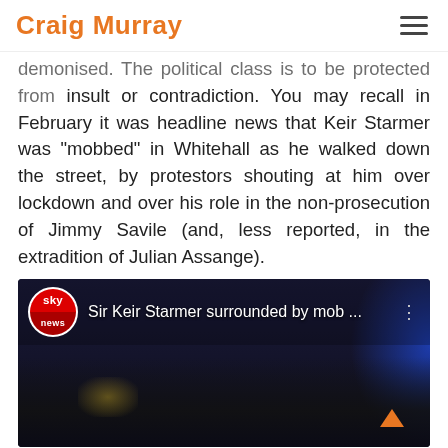Craig Murray
demonised. The political class is to be protected from insult or contradiction. You may recall in February it was headline news that Keir Starmer was “mobbed” in Whitehall as he walked down the street, by protestors shouting at him over lockdown and over his role in the non-prosecution of Jimmy Savile (and, less reported, in the extradition of Julian Assange).
[Figure (screenshot): Sky News video thumbnail showing 'Sir Keir Starmer surrounded by mob ...' with Sky News logo badge and a crowd scene with blue lighting]